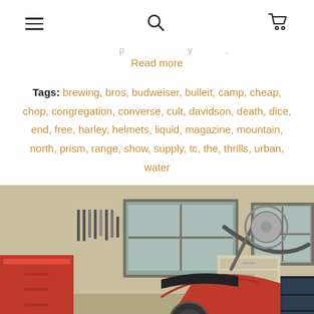Navigation bar with menu, search, and cart icons
Read more
Tags: brewing, bros, budweiser, bulleit, camp, cheap, chop, congregation, converse, cult, davidson, death, dice, end, free, harley, helmets, liquid, magazine, mountain, north, prism, range, show, supply, tc, the, thrills, urban, water
[Figure (photo): Motorcycle workshop/garage interior with a red chopper-style motorcycle, red tool chest, pegboard with tools, and a window in the background]